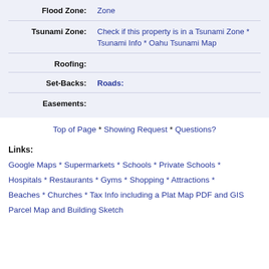| Flood Zone: | Zone |
| Tsunami Zone: | Check if this property is in a Tsunami Zone * Tsunami Info * Oahu Tsunami Map |
| Roofing: |  |
| Set-Backs: | Roads: |
| Easements: |  |
Top of Page * Showing Request * Questions?
Links:
Google Maps * Supermarkets * Schools * Private Schools * Hospitals * Restaurants * Gyms * Shopping * Attractions * Beaches * Churches * Tax Info including a Plat Map PDF and GIS Parcel Map and Building Sketch